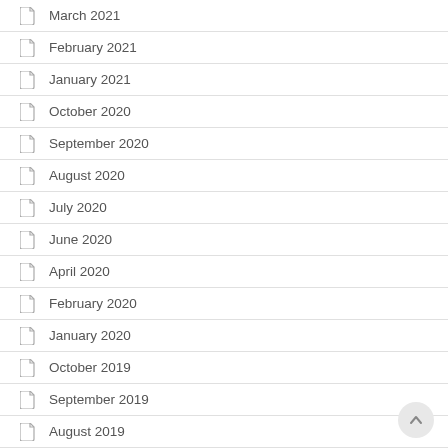March 2021
February 2021
January 2021
October 2020
September 2020
August 2020
July 2020
June 2020
April 2020
February 2020
January 2020
October 2019
September 2019
August 2019